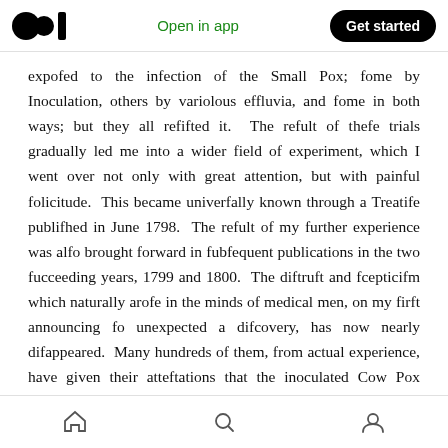Open in app | Get started
expofed to the infection of the Small Pox; fome by Inoculation, others by variolous effluvia, and fome in both ways; but they all refifted it. The refult of thefe trials gradually led me into a wider field of experiment, which I went over not only with great attention, but with painful folicitude. This became univerfally known through a Treatife published in June 1798. The refult of my further experience was alfo brought forward in fubfequent publications in the two fucceeding years, 1799 and 1800. The diftruft and fcepticifm which naturally arofe in the minds of medical men, on my firft announcing fo unexpected a difcovery, has now nearly difappeared. Many hundreds of them, from actual experience, have given their atteftations that the inoculated Cow Pox proves a perfect fecurity againft the Small Pox, and I fhall probably have it in my power fo to fet f...
Home | Search | Profile